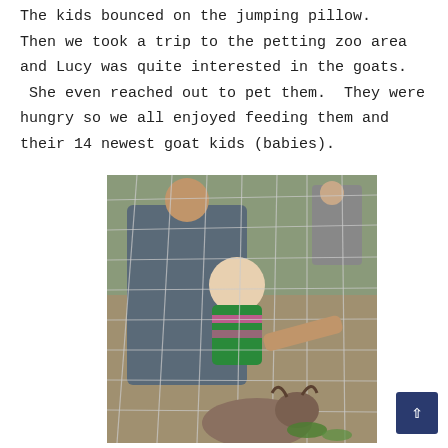The kids bounced on the jumping pillow. Then we took a trip to the petting zoo area and Lucy was quite interested in the goats. She even reached out to pet them. They were hungry so we all enjoyed feeding them and their 14 newest goat kids (babies).
[Figure (photo): An adult holding a baby/toddler near a wire fence at a petting zoo, with a goat visible at the bottom of the image. Another person visible in the background.]